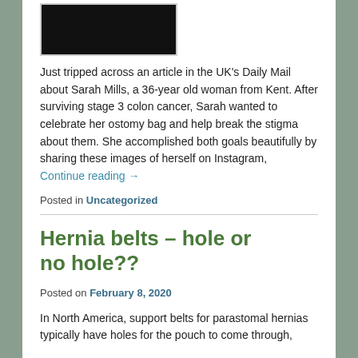[Figure (photo): Black and white photo of a person, partially visible, cropped at top]
Just tripped across an article in the UK's Daily Mail about Sarah Mills, a 36-year old woman from Kent. After surviving stage 3 colon cancer, Sarah wanted to celebrate her ostomy bag and help break the stigma about them. She accomplished both goals beautifully by sharing these images of herself on Instagram,
Continue reading →
Posted in Uncategorized
Hernia belts – hole or no hole??
Posted on February 8, 2020
In North America, support belts for parastomal hernias typically have holes for the pouch to come through,